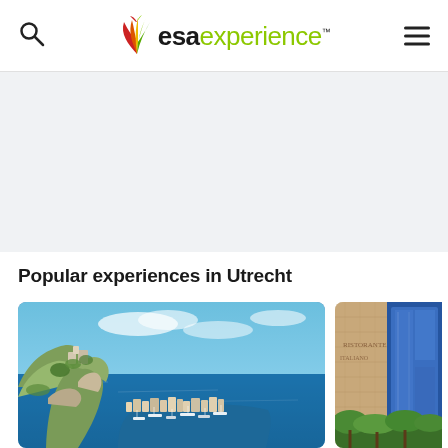esaexperience™ — navigation header with search icon and hamburger menu
[Figure (photo): Gray banner/hero area below header, light gray background]
Popular experiences in Utrecht
[Figure (photo): Aerial view of Monaco harbour with rocky cliffs, dense colourful buildings, marina with yachts, and blue sea and sky]
[Figure (photo): Partial view of a building facade with wooden and blue-framed panels, text partially visible]